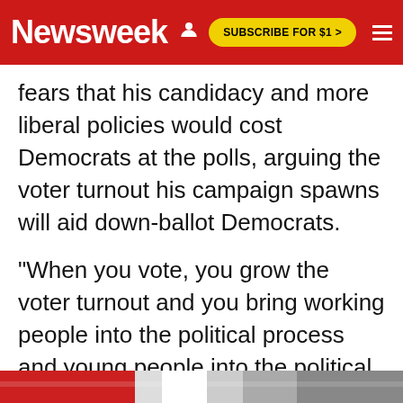Newsweek | SUBSCRIBE FOR $1 >
fears that his candidacy and more liberal policies would cost Democrats at the polls, arguing the voter turnout his campaign spawns will aid down-ballot Democrats.
"When you vote, you grow the voter turnout and you bring working people into the political process and young people into the political process," he told Newsweek last week. "A large voter turnout is going to help everybody, from the top of the ticket to the bottom."
[Figure (photo): Partial image of what appears to be a red, white and blue banner or flag at the bottom of the page]